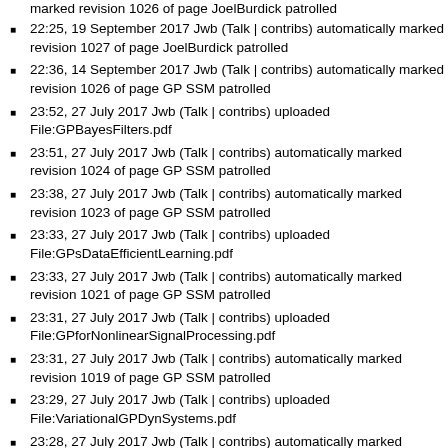marked revision 1026 of page JoelBurdick patrolled
22:25, 19 September 2017 Jwb (Talk | contribs) automatically marked revision 1027 of page JoelBurdick patrolled
22:36, 14 September 2017 Jwb (Talk | contribs) automatically marked revision 1026 of page GP SSM patrolled
23:52, 27 July 2017 Jwb (Talk | contribs) uploaded File:GPBayesFilters.pdf
23:51, 27 July 2017 Jwb (Talk | contribs) automatically marked revision 1024 of page GP SSM patrolled
23:38, 27 July 2017 Jwb (Talk | contribs) automatically marked revision 1023 of page GP SSM patrolled
23:33, 27 July 2017 Jwb (Talk | contribs) uploaded File:GPsDataEfficientLearning.pdf
23:33, 27 July 2017 Jwb (Talk | contribs) automatically marked revision 1021 of page GP SSM patrolled
23:31, 27 July 2017 Jwb (Talk | contribs) uploaded File:GPforNonlinearSignalProcessing.pdf
23:31, 27 July 2017 Jwb (Talk | contribs) automatically marked revision 1019 of page GP SSM patrolled
23:29, 27 July 2017 Jwb (Talk | contribs) uploaded File:VariationalGPDynSystems.pdf
23:28, 27 July 2017 Jwb (Talk | contribs) automatically marked revision 1017 of page GP SSM patrolled
23:27, 27 July 2017 Jwb (Talk | contribs) uploaded File:StateSpaceInferenceLearningGPs.pdf
23:26, 27 July 2017 Jwb (Talk | contribs) automatically marked